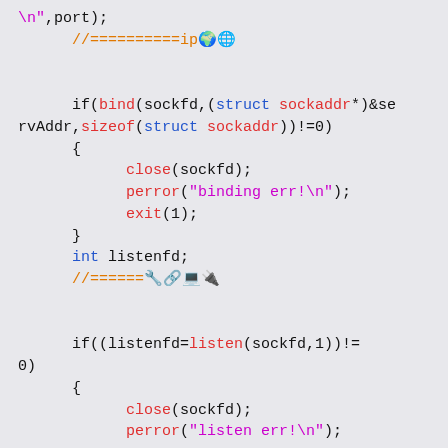[Figure (screenshot): Code snippet in C showing socket binding and listening code with syntax highlighting: magenta for keywords, orange for comments, red for function calls and string literals, blue for types.]